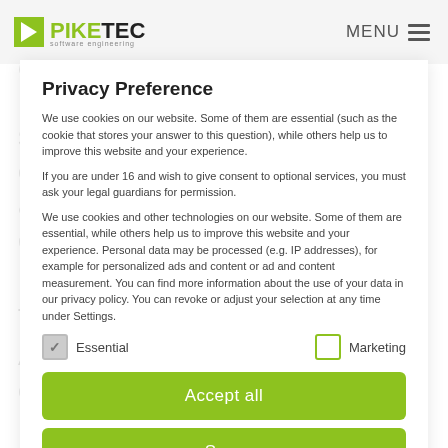PIKETEC — MENU
of students and software as replacements for control systems and regulation. New control systems must be analyzed and tested to ensure quality. For these tasks we are looking for ambitious students. As tester, you stay in close contact with the client and gain insights into the development process of innovative products.
Privacy Preference
We use cookies on our website. Some of them are essential (such as the cookie that stores your answer to this question), while others help us to improve this website and your experience.
If you are under 16 and wish to give consent to optional services, you must ask your legal guardians for permission.
We use cookies and other technologies on our website. Some of them are essential, while others help us to improve this website and your experience. Personal data may be processed (e.g. IP addresses), for example for personalized ads and content or ad and content measurement. You can find more information about the use of your data in our privacy policy. You can revoke or adjust your selection at any time under Settings.
Essential
Marketing
Accept all
Save